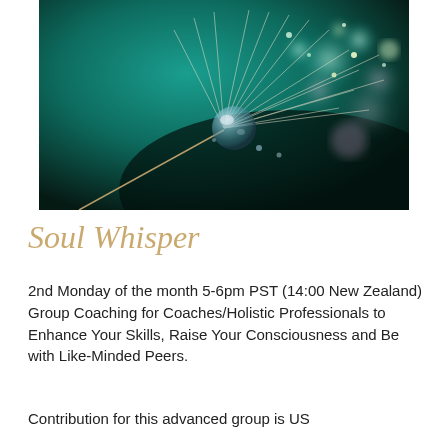[Figure (photo): Close-up macro photograph of a dandelion seed with a large water droplet on it, against a dark teal/turquoise bokeh background with sparkly light effects.]
Soul Whisper
2nd Monday of the month 5-6pm PST (14:00 New Zealand)
Group Coaching for Coaches/Holistic Professionals to Enhance Your Skills, Raise Your Consciousness and Be with Like-Minded Peers.
Contribution for this advanced group is US